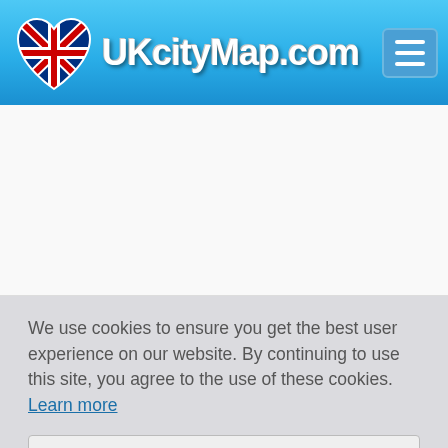UKcityMap.com
[Figure (other): Advertisement/blank ad placeholder area]
We use cookies to ensure you get the best user experience on our website. By continuing to use this site, you agree to the use of these cookies. Learn more
Got it
What is the nearest train station to Kennett?
Nearest Railway Stations to Kennett